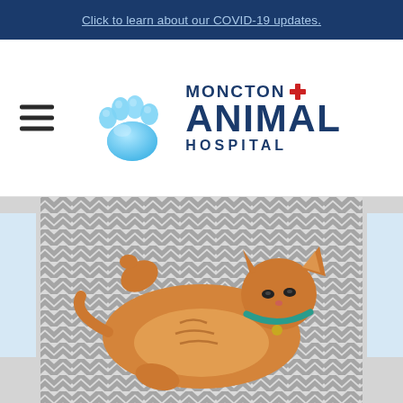Click to learn about our COVID-19 updates.
[Figure (logo): Moncton Animal Hospital logo with blue paw print and text]
[Figure (photo): Orange cat lying on its back on a grey and white chevron patterned blanket, wearing a teal collar]